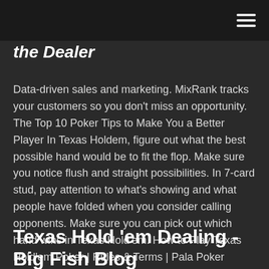the Dealer
Data-driven sales and marketing. MixRank tracks your customers so you don't miss an opportunity. The Top 10 Poker Tips to Make You a Better Player In Texas Holdem, figure out what the best possible hand would be to fit the flop. Make sure you notice flush and straight possibilities. In 7-card stud, pay attention to what's showing and what people have folded when you consider calling opponents. Make sure you can pick out which hand wins in Texas Hold'em. How to Play Texas Hold'em Poker | Rules & Terms | Pala Poker
Texas Hold 'em Dealing - Big Fish Blog